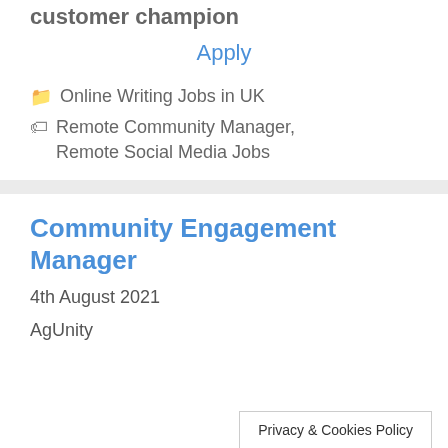customer champion
Apply
Online Writing Jobs in UK
Remote Community Manager, Remote Social Media Jobs
Community Engagement Manager
4th August 2021
AgUnity
Privacy & Cookies Policy